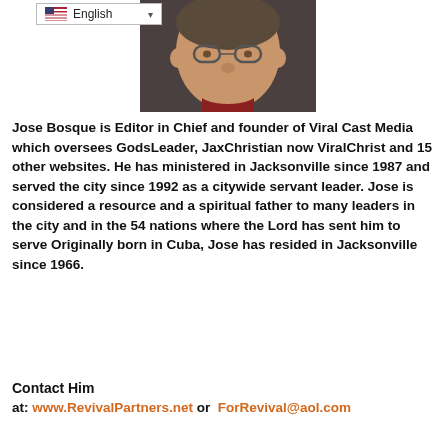[Figure (photo): Headshot photo of Jose Bosque, a middle-aged man with glasses]
Jose Bosque is Editor in Chief and founder of Viral Cast Media which oversees GodsLeader, JaxChristian now ViralChrist and 15 other websites. He has ministered in Jacksonville since 1987 and served the city since 1992 as a citywide servant leader. Jose is considered a resource and a spiritual father to many leaders in the city and in the 54 nations where the Lord has sent him to serve Originally born in Cuba, Jose has resided in Jacksonville since 1966.
Contact Him
at: www.RevivalPartners.net or ForRevival@aol.com